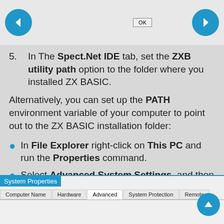[Figure (screenshot): Navigation arrows (left and right) with an OK button in the top bar area]
5. In The Spect.Net IDE tab, set the ZXB utility path option to the folder where you installed ZX BASIC.
Alternatively, you can set up the PATH environment variable of your computer to point out to the ZX BASIC installation folder:
In File Explorer right-click on This PC and run the Properties command.
Select Advanced System Settings, and then click Environment Variables:
[Figure (screenshot): System Properties dialog box showing tabs: Computer Name, Hardware, Advanced (selected), System Protection, Remote]